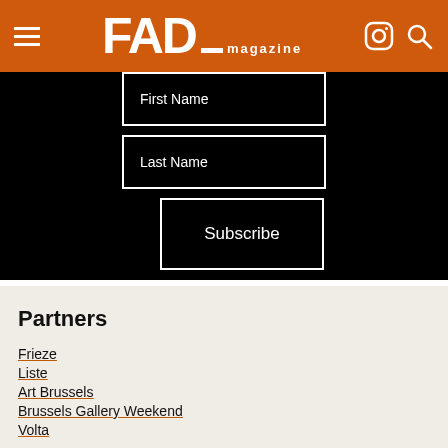FAD magazine
Email Address*
First Name
Last Name
Subscribe
Partners
Frieze
Liste
Art Brussels
Brussels Gallery Weekend
Volta